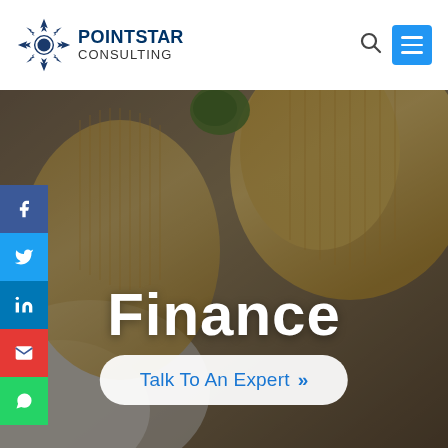[Figure (logo): PointStar Consulting logo with sunburst/star icon and company name]
Finance
Talk To An Expert »